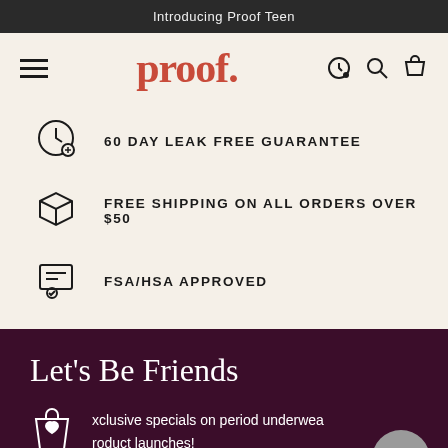Introducing Proof Teen
[Figure (logo): proof. brand logo in red/coral serif font with hamburger menu and icons]
60 DAY LEAK FREE GUARANTEE
FREE SHIPPING ON ALL ORDERS OVER $50
FSA/HSA APPROVED
Let's Be Friends
xclusive specials on period underwea roduct launches!